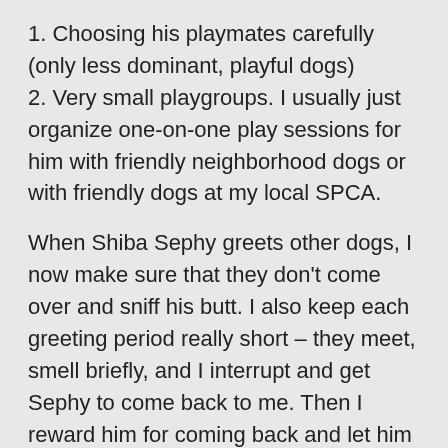1. Choosing his playmates carefully (only less dominant, playful dogs)
2. Very small playgroups. I usually just organize one-on-one play sessions for him with friendly neighborhood dogs or with friendly dogs at my local SPCA.
When Shiba Sephy greets other dogs, I now make sure that they don't come over and sniff his butt. I also keep each greeting period really short – they meet, smell briefly, and I interrupt and get Sephy to come back to me. Then I reward him for coming back and let him go back again to meet if he wants.
What has worked well for Sephy is to always try and keep things positive and set him up for success. I try to only expose him to situations that he can handle and not push him too much over his tolerance threshold. I also try to